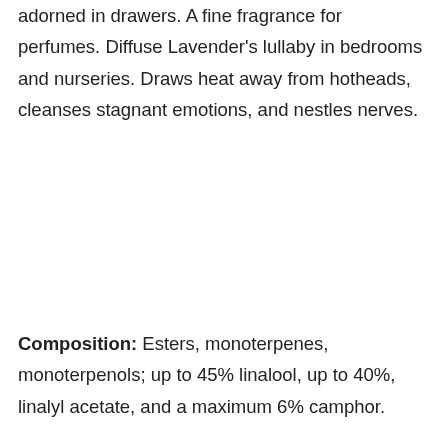adorned in drawers. A fine fragrance for perfumes. Diffuse Lavender's lullaby in bedrooms and nurseries. Draws heat away from hotheads, cleanses stagnant emotions, and nestles nerves.
Composition: Esters, monoterpenes, monoterpenols; up to 45% linalool, up to 40%, linalyl acetate, and a maximum 6% camphor.
French Fine Lavender Essential Oil is fresh and bright, bursting with the energy of organic plants grown from fertile seed, in lieu of other forms of propagation. The plants are grown in the French Alps where the lower air temperature heightens the aromatic oils. The flowers are steam distilled to preserve the